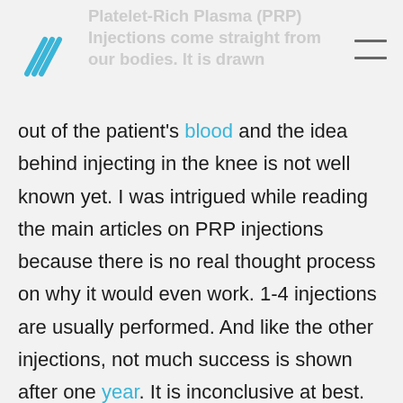Platelet-Rich Plasma (PRP) Injections come straight from our bodies. It is drawn
out of the patient's blood and the idea behind injecting in the knee is not well known yet. I was intrigued while reading the main articles on PRP injections because there is no real thought process on why it would even work. 1-4 injections are usually performed. And like the other injections, not much success is shown after one year. It is inconclusive at best. Like the other studies, too much bias is involved and PRP lacks enough successful outcomes to show promise.